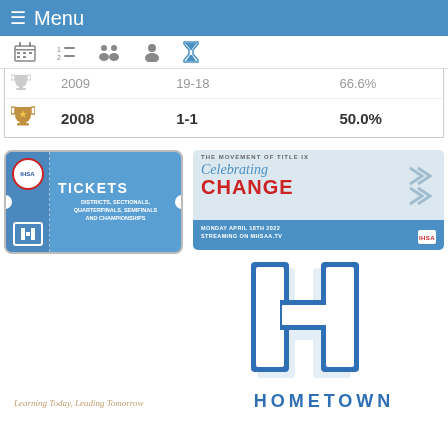≡ Menu
|  | Year | Record | Pct |
| --- | --- | --- | --- |
| [trophy] | 2009 | 19-18 | 66.6% |
| [trophy] | 2008 | 1-1 | 50.0% |
[Figure (logo): IHSA Tickets banner — DISTRICTS, SECTIONALS, QUARTERFINALS, SEMIFINALS AND CHAMPIONSHIPS]
[Figure (infographic): The Movement of Title IX — Celebrating CHANGE — Monday April 18th 2022 Streaming on MHSAA.tv]
[Figure (logo): Large blue H letter logo with HOMETOWN text below]
Learning Today, Leading Tomorrow